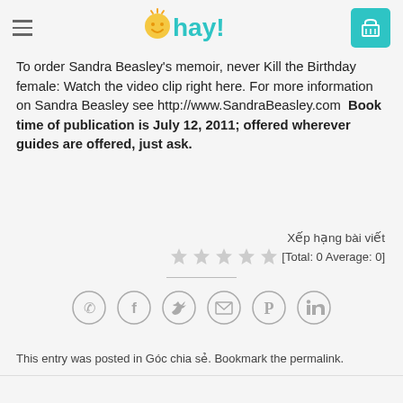Ohay! [logo and navigation header]
To order Sandra Beasley's memoir, never Kill the Birthday female: Watch the video clip right here. For more information on Sandra Beasley see http://www.SandraBeasley.com  Book time of publication is July 12, 2011; offered wherever guides are offered, just ask.
Xếp hạng bài viết
[Total: 0 Average: 0]
[Figure (other): Social sharing icons: WhatsApp, Facebook, Twitter, Email, Pinterest, LinkedIn]
This entry was posted in Góc chia sẻ. Bookmark the permalink.